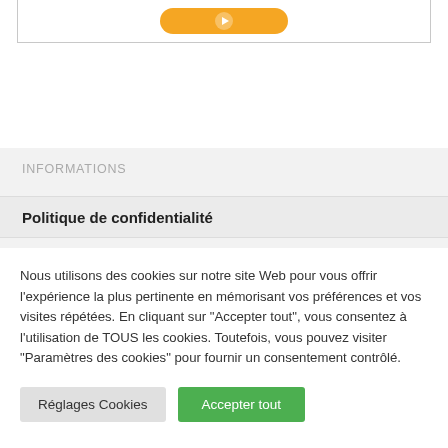[Figure (other): Orange rounded button partially visible inside a bordered box at the top of the page]
INFORMATIONS
Politique de confidentialité
Nous utilisons des cookies sur notre site Web pour vous offrir l'expérience la plus pertinente en mémorisant vos préférences et vos visites répétées. En cliquant sur "Accepter tout", vous consentez à l'utilisation de TOUS les cookies. Toutefois, vous pouvez visiter "Paramètres des cookies" pour fournir un consentement contrôlé.
Réglages Cookies
Accepter tout